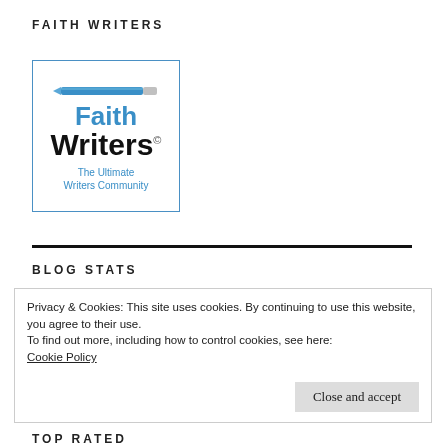FAITH WRITERS
[Figure (logo): FaithWriters logo with pencil icon, blue 'Faith' text, bold black 'Writers' text with copyright symbol, and blue tagline 'The Ultimate Writers Community', inside a blue-bordered box.]
BLOG STATS
Privacy & Cookies: This site uses cookies. By continuing to use this website, you agree to their use. To find out more, including how to control cookies, see here: Cookie Policy
TOP RATED